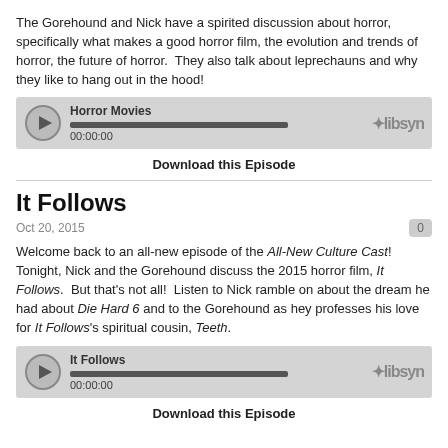The Gorehound and Nick have a spirited discussion about horror, specifically what makes a good horror film, the evolution and trends of horror, the future of horror.  They also talk about leprechauns and why they like to hang out in the hood!
[Figure (other): Audio player widget labeled 'Horror Movies' with play button, progress bar, timestamp 00:00:00, and libsyn logo]
Download this Episode
It Follows
Oct 20, 2015
Welcome back to an all-new episode of the All-New Culture Cast! Tonight, Nick and the Gorehound discuss the 2015 horror film, It Follows.  But that's not all!  Listen to Nick ramble on about the dream he had about Die Hard 6 and to the Gorehound as hey professes his love for It Follows's spiritual cousin, Teeth.
[Figure (other): Audio player widget labeled 'It Follows' with play button, progress bar, timestamp 00:00:00, and libsyn logo]
Download this Episode